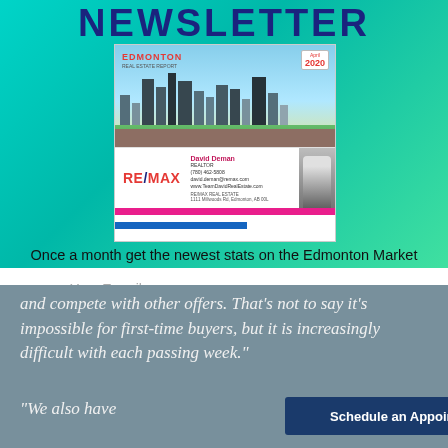NEWSLETTER
[Figure (illustration): Edmonton Real Estate Newsletter cover showing city skyline illustration with RE/MAX agent David Deman branding card, April 2020]
Once a month get the newest stats on the Edmonton Market
Your E-mail
and compete with other offers. That's not to say it's impossible for first-time buyers, but it is increasingly difficult with each passing week."
"We also have
ble to build first...
Schedule an Appointment